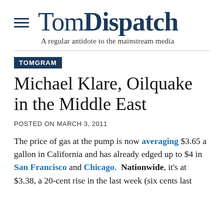Tom Dispatch — A regular antidote to the mainstream media
TOMGRAM
Michael Klare, Oilquake in the Middle East
POSTED ON MARCH 3, 2011
The price of gas at the pump is now averaging $3.65 a gallon in California and has already edged up to $4 in San Francisco and Chicago.  Nationwide, it's at $3.38, a 20-cent rise in the last week (six cents last